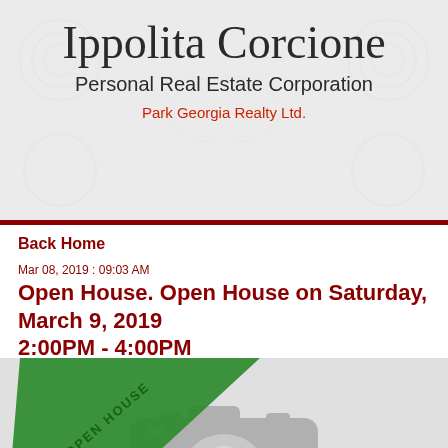Ippolita Corcione
Personal Real Estate Corporation
Park Georgia Realty Ltd.
Back Home
Mar 08, 2019 : 09:03 AM
Open House. Open House on Saturday, March 9, 2019 2:00PM - 4:00PM
[Figure (photo): Placeholder image with a camera icon and a green 'OPEN HOUSE' diagonal ribbon banner in the top-left corner]